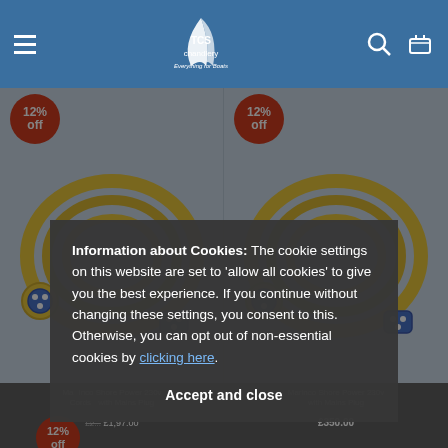TCS Chandlery — Everything for Boats navigation bar
[Figure (photo): Two yellow marine shore power cable sets coiled, each with blue plugs, shown side by side with red 12% off badges]
Marinco Shore Power 230v Cords - with Mains Plug
£350.00
[Figure (photo): Partial third yellow marine shore power cable coiled, with red 12% off badge, visible at bottom]
Information about Cookies: The cookie settings on this website are set to 'allow all cookies' to give you the best experience. If you continue without changing these settings, you consent to this. Otherwise, you can opt out of non-essential cookies by clicking here.
Accept and close